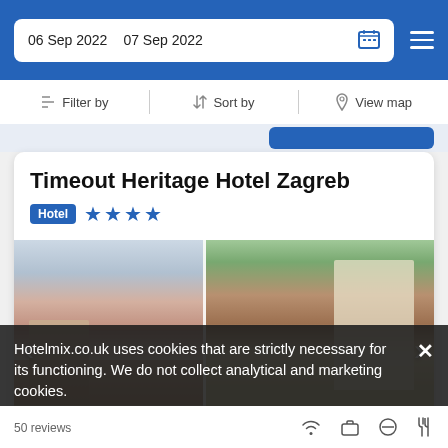06 Sep 2022   07 Sep 2022
Filter by   Sort by   View map
Timeout Heritage Hotel Zagreb
Hotel ★★★★
[Figure (photo): Exterior photo of Timeout Heritage Hotel Zagreb showing historic buildings with red tile roofs, a church tower, and outdoor terrace with shade sails. Carousel navigation arrows visible.]
Hotelmix.co.uk uses cookies that are strictly necessary for its functioning. We do not collect analytical and marketing cookies.
50 reviews